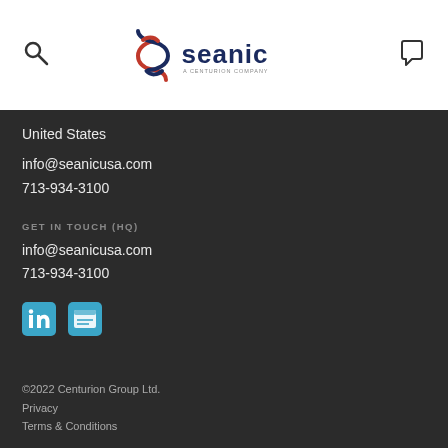[Figure (logo): Seanic logo - a Centurion company, with red and blue interlinked S mark and dark navy SEANIC wordmark]
United States
info@seanicusa.com
713-934-3100
GET IN TOUCH (HQ)
info@seanicusa.com
713-934-3100
[Figure (illustration): LinkedIn and another social media icon in teal/blue]
©2022 Centurion Group Ltd.
Privacy
Terms & Conditions